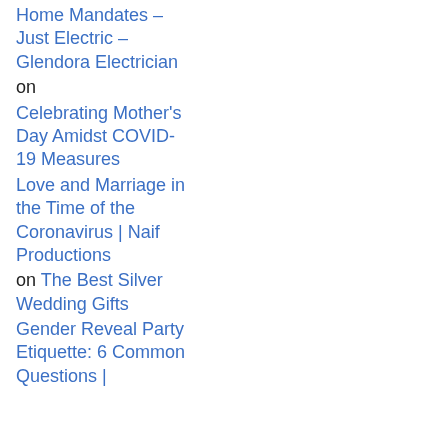Home Mandates – Just Electric – Glendora Electrician
on
Celebrating Mother's Day Amidst COVID-19 Measures
Love and Marriage in the Time of the Coronavirus | Naif Productions
on
The Best Silver Wedding Gifts
Gender Reveal Party Etiquette: 6 Common Questions |